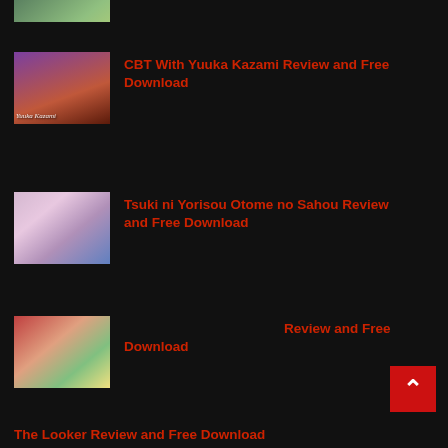[Figure (screenshot): Partial game thumbnail at top of page, cropped]
CBT With Yuuka Kazami Review and Free Download
Tsuki ni Yorisou Otome no Sahou Review and Free Download
Review and Free Download
The Looker Review and Free Download